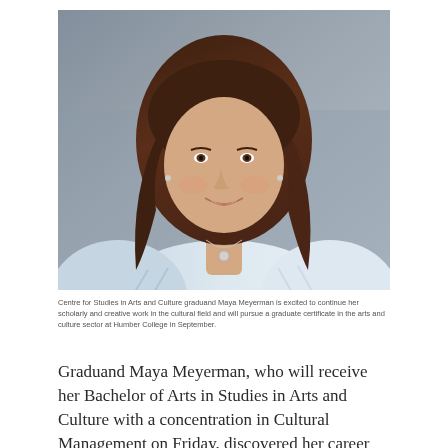[Figure (photo): Portrait photo of Maya Meyerman, a young woman with long brown hair, smiling, wearing a light blue and white striped top and a small pendant necklace, photographed against a grey background.]
Centre for Studies in Arts and Culture graduand Maya Meyerman is excited to continue her scholarly and creative work in the cultural field and will pursue a graduate certificate in the arts and culture sector at Humber College in September.
Graduand Maya Meyerman, who will receive her Bachelor of Arts in Studies in Arts and Culture with a concentration in Cultural Management on Friday, discovered her career pathway